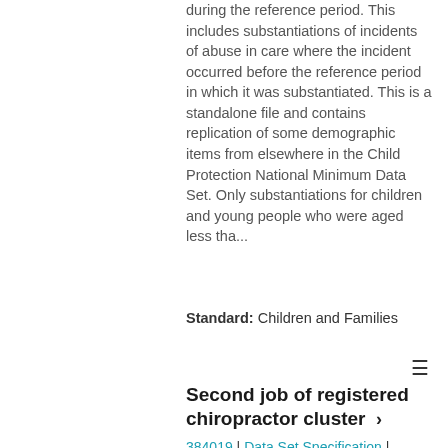during the reference period. This includes substantiations of incidents of abuse in care where the incident occurred before the reference period in which it was substantiated. This is a standalone file and contains replication of some demographic items from elsewhere in the Child Protection National Minimum Data Set. Only substantiations for children and young people who were aged less tha...
Standard: Children and Families
Second job of registered chiropractor cluster >
384019 | Data Set Specification | Australian Institute of Health and Welfare
The second job of registered